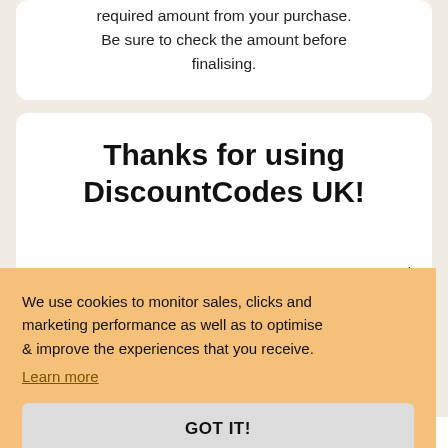required amount from your purchase. Be sure to check the amount before finalising.
Thanks for using DiscountCodes UK!
We use cookies to monitor sales, clicks and marketing performance as well as to optimise & improve the experiences that you receive. Learn more
GOT IT!
offers to bring to you. There's very little